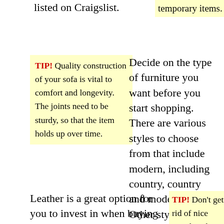listed on Craigslist.
temporary items.
TIP! Quality construction of your sofa is vital to comfort and longevity. The joints need to be sturdy, so that the item holds up over time.
Decide on the type of furniture you want before you start shopping. There are various styles to choose from that include modern, including country, country and modern styles. Other style options are casual, arts and crafts, and Asian inspired furnishings.
Leather is a great option for you to invest in when buying furniture. Leather
TIP! Don't get rid of nice wooden chairs with worn-out